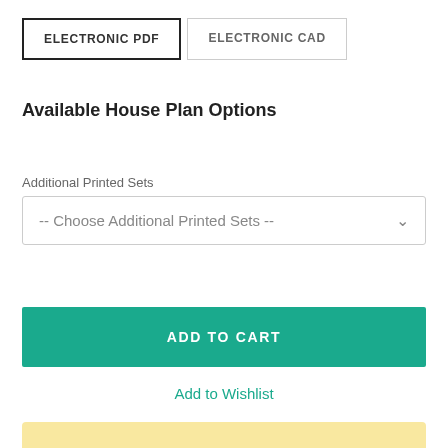ELECTRONIC PDF
ELECTRONIC CAD
Available House Plan Options
Additional Printed Sets
-- Choose Additional Printed Sets --
ADD TO CART
Add to Wishlist